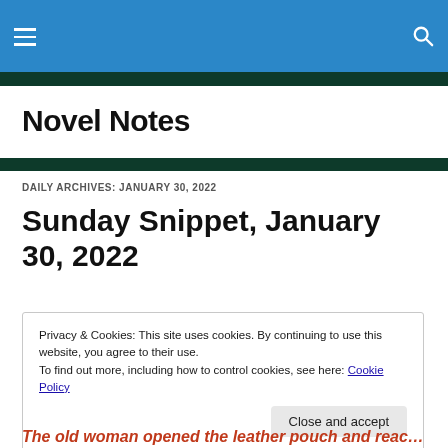Novel Notes — navigation header
Novel Notes
DAILY ARCHIVES: JANUARY 30, 2022
Sunday Snippet, January 30, 2022
Privacy & Cookies: This site uses cookies. By continuing to use this website, you agree to their use.
To find out more, including how to control cookies, see here: Cookie Policy
Close and accept
The old woman opened the leather pouch and reached